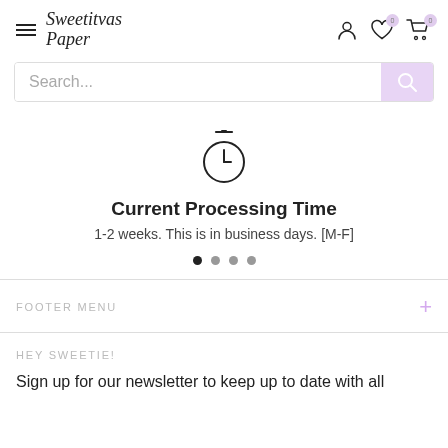Sweetitvas Paper — navigation header with hamburger menu, logo, account, wishlist, and cart icons
Search...
[Figure (other): Stopwatch/clock icon]
Current Processing Time
1-2 weeks. This is in business days. [M-F]
FOOTER MENU
HEY SWEETIE!
Sign up for our newsletter to keep up to date with all